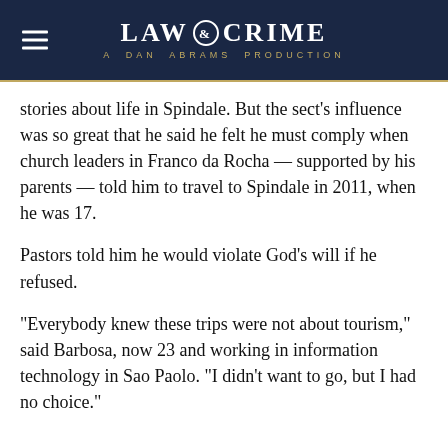LAW & CRIME — A DAN ABRAMS PRODUCTION
stories about life in Spindale. But the sect's influence was so great that he said he felt he must comply when church leaders in Franco da Rocha — supported by his parents — told him to travel to Spindale in 2011, when he was 17.
Pastors told him he would violate God's will if he refused.
“Everybody knew these trips were not about tourism,” said Barbosa, now 23 and working in information technology in Sao Paolo. “I didn’t want to go, but I had no choice.”